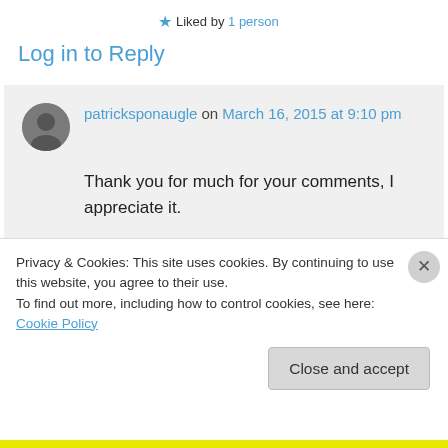★ Liked by 1 person
Log in to Reply
patricksponaugle on March 16, 2015 at 9:10 pm
Thank you for much for your comments, I appreciate it.
(People, the commenter above has some
Privacy & Cookies: This site uses cookies. By continuing to use this website, you agree to their use.
To find out more, including how to control cookies, see here: Cookie Policy
Close and accept